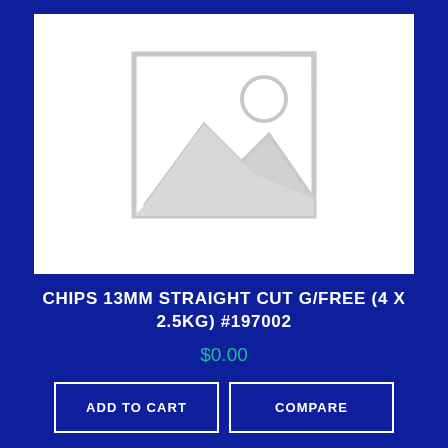[Figure (illustration): Placeholder image icon showing a landscape silhouette with a mountain and sun inside a picture frame outline, gray on white background]
CHIPS 13MM STRAIGHT CUT G/FREE (4 X 2.5KG) #197002
$0.00
ADD TO CART
COMPARE